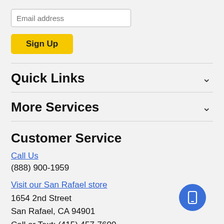Email address
Sign Up
Quick Links
More Services
Customer Service
Call Us
(888) 900-1959
Visit our San Rafael store
1654 2nd Street
San Rafael, CA 94901
Call or Text: (415) 457-7600